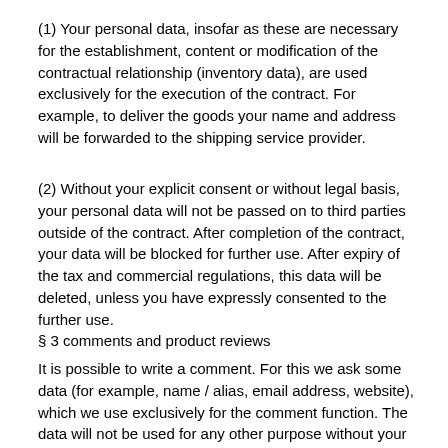(1) Your personal data, insofar as these are necessary for the establishment, content or modification of the contractual relationship (inventory data), are used exclusively for the execution of the contract. For example, to deliver the goods your name and address will be forwarded to the shipping service provider.
(2) Without your explicit consent or without legal basis, your personal data will not be passed on to third parties outside of the contract. After completion of the contract, your data will be blocked for further use. After expiry of the tax and commercial regulations, this data will be deleted, unless you have expressly consented to the further use.
§ 3 comments and product reviews
It is possible to write a comment. For this we ask some data (for example, name / alias, email address, website), which we use exclusively for the comment function. The data will not be used for any other purpose without your express consent and will not be disclosed to third parties.